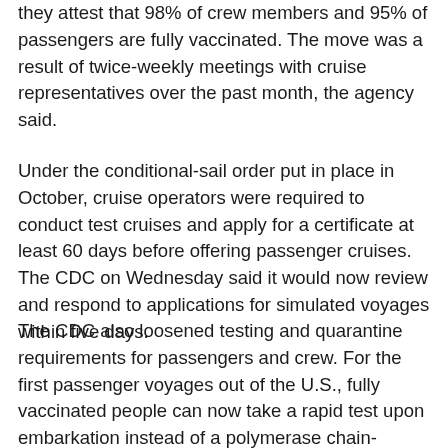they attest that 98% of crew members and 95% of passengers are fully vaccinated. The move was a result of twice-weekly meetings with cruise representatives over the past month, the agency said.
Under the conditional-sail order put in place in October, cruise operators were required to conduct test cruises and apply for a certificate at least 60 days before offering passenger cruises. The CDC on Wednesday said it would now review and respond to applications for simulated voyages within five days.
The CDC also loosened testing and quarantine requirements for passengers and crew. For the first passenger voyages out of the U.S., fully vaccinated people can now take a rapid test upon embarkation instead of a polymerase chain-reaction test, the